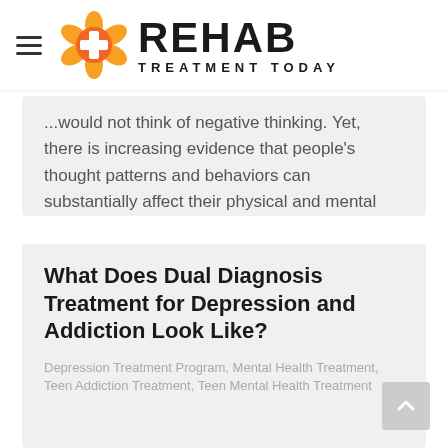REHAB TREATMENT TODAY
...would not think of negative thinking. Yet, there is increasing evidence that people's thought patterns and behaviors can substantially affect their physical and mental health. Part of countering the harmful symptoms of mental illness is identifying and countering negative thinking,...
What Does Dual Diagnosis Treatment for Depression and Addiction Look Like?
Depression Treatment Program, Mental Health Treatment, Teen Addiction Treatment, Teen Mental Health Treatment